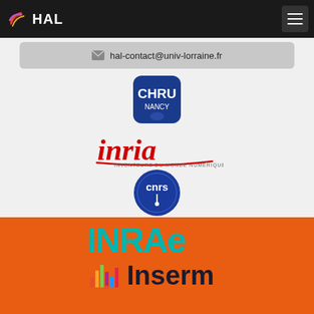[Figure (logo): HAL open archive logo with colored swirl icon and white HAL text on dark background, plus hamburger menu button]
hal-contact@univ-lorraine.fr
[Figure (logo): CHRU Nancy logo - blue rounded square with white text CHRU and Nancy below]
[Figure (logo): Inria logo - red italic script Inria text with tagline 'inventeurs du monde numérique']
[Figure (logo): CNRS logo - blue circle badge with white CNRS text]
[Figure (logo): INRAE logo - teal/cyan stylized INRAE text on orange background]
[Figure (logo): Inserm logo - colorful bar chart icon with Inserm text in dark color on orange background]